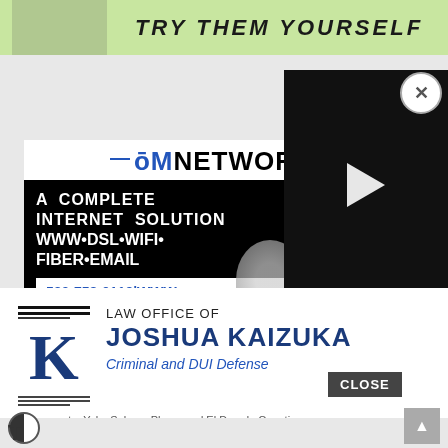[Figure (photo): Top green advertisement banner with the text 'TRY THEM YOURSELF' and a person figure on the left side]
[Figure (infographic): OM Networks advertisement on black background with white text: 'A COMPLETE INTERNET SOLUTION WWW•DSL•WIFI•FIBER•EMAIL' and phone number '530-758-0119|WWW...' with a play button video overlay on the right]
[Figure (infographic): Law Office of Joshua Kaizuka advertisement. 'K' logo with horizontal lines, text: 'LAW OFFICE OF JOSHUA KAIZUKA, Criminal and DUI Defense, Sacramento, Yolo, Solano, Placer and El Dorado Counties'. CLOSE button visible.]